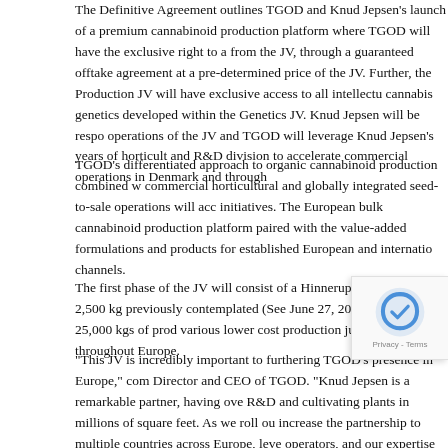The Definitive Agreement outlines TGOD and Knud Jepsen's launch of a premium cannabinoid production platform where TGOD will have the exclusive right to acquire from the JV, through a guaranteed offtake agreement at a pre-determined price of the JV. Further, the Production JV will have exclusive access to all intellectual cannabis genetics developed within the Genetics JV. Knud Jepsen will be responsible for operations of the JV and TGOD will leverage Knud Jepsen's years of horticultural and R&D division to accelerate commercial operations in Denmark and throughout.
TGOD's differentiated approach to organic cannabinoid production combined with commercial horticultural and globally integrated seed-to-sale operations will accelerate initiatives. The European bulk cannabinoid production platform paired with the value-added formulations and products for established European and international channels.
The first phase of the JV will consist of a Hinnerup, Denmark based 2,500 kg previously contemplated (See June 27, 2018 news release) 25,000 kgs of production various lower cost production jurisdictions throughout Europe.
"This JV is incredibly important to furthering TGOD's presence in Europe," commented Director and CEO of TGOD. "Knud Jepsen is a remarkable partner, having over R&D and cultivating plants in millions of square feet. As we roll out increase the partnership to multiple countries across Europe, leveraging operators, and our expertise in cannabis will be critical to TGOD's partnership will allow TGOD to focus on building global sales and distribution channels."